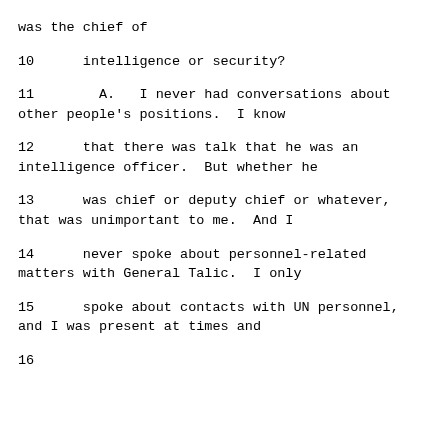was the chief of
10      intelligence or security?
11        A.   I never had conversations about other people's positions.  I know
12      that there was talk that he was an intelligence officer.  But whether he
13      was chief or deputy chief or whatever, that was unimportant to me.  And I
14      never spoke about personnel-related matters with General Talic.  I only
15      spoke about contacts with UN personnel, and I was present at times and
16      ...